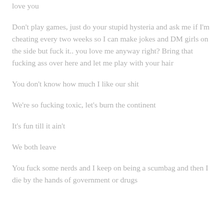love you
Don't play games, just do your stupid hysteria and ask me if I'm cheating every two weeks so I can make jokes and DM girls on the side but fuck it.. you love me anyway right? Bring that fucking ass over here and let me play with your hair
You don't know how much I like our shit
We're so fucking toxic, let's burn the continent
It's fun till it ain't
We both leave
You fuck some nerds and I keep on being a scumbag and then I die by the hands of government or drugs